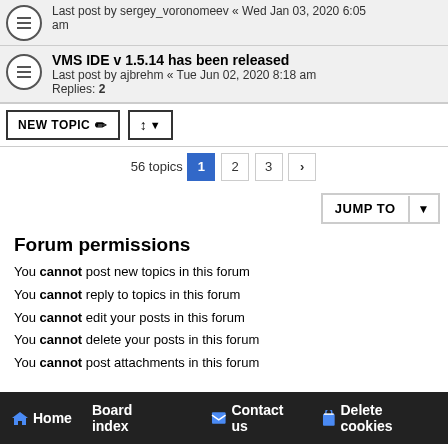Last post by sergey_voronomeev « Wed Jan 03, 2020 6:05 am
VMS IDE v 1.5.14 has been released
Last post by ajbrehm « Tue Jun 02, 2020 8:18 am
Replies: 2
NEW TOPIC
56 topics  1  2  3  »
JUMP TO
Forum permissions
You cannot post new topics in this forum
You cannot reply to topics in this forum
You cannot edit your posts in this forum
You cannot delete your posts in this forum
You cannot post attachments in this forum
Home  Board index  Contact us  Delete cookies
Flat Style by Ian Bradley
Powered by phpBB® Forum Software © phpBB Limited
Privacy | Terms